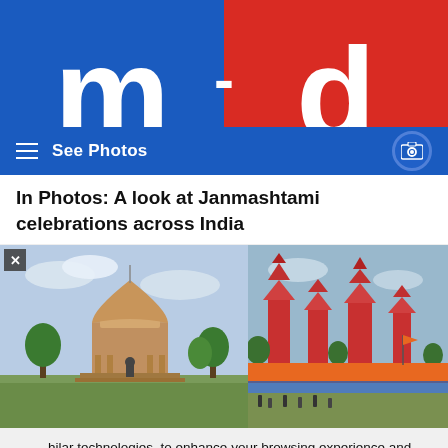[Figure (logo): m-d logo: blue left half with white bold letter m, red right half with white bold letter d, See Photos navigation bar at bottom]
In Photos: A look at Janmashtami celebrations across India
[Figure (photo): Left: Supreme Court of India building with dome and green trees. Right: Colorful temple with red spires and crowds, decorated for Janmashtami]
...hilar technologies, to enhance your browsing experience and provide personalised recommendations. By continuing to use our website, you agree to our Privacy Policy and Cookie Policy.